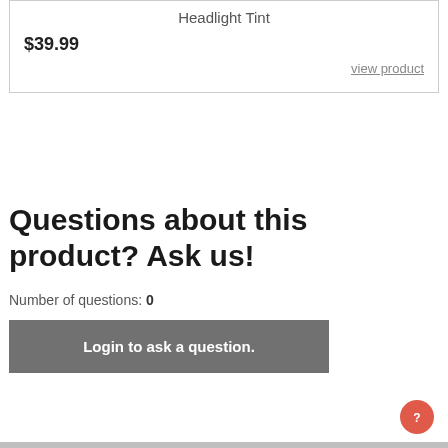Headlight Tint
$39.99
view product
Questions about this product? Ask us!
Number of questions: 0
Login to ask a question.